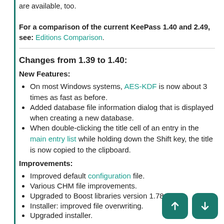For a comparison of the current KeePass 1.40 and 2.49, see: Editions Comparison.
Changes from 1.39 to 1.40:
New Features:
On most Windows systems, AES-KDF is now about 3 times as fast as before.
Added database file information dialog that is displayed when creating a new database.
When double-clicking the title cell of an entry in the main entry list while holding down the Shift key, the title is now copied to the clipboard.
Improvements:
Improved default configuration file.
Various CHM file improvements.
Upgraded to Boost libraries version 1.78.0.
Installer: improved file overwriting.
Upgraded installer.